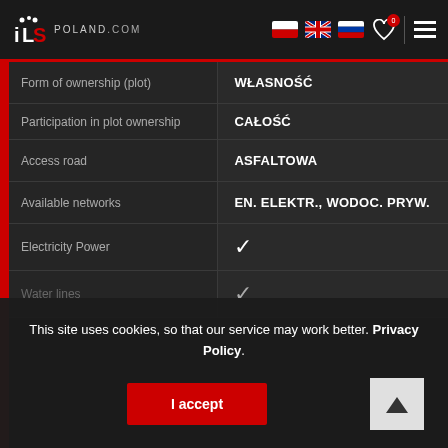ILS POLAND.COM
| Property | Value |
| --- | --- |
| Form of ownership (plot) | WŁASNOŚĆ |
| Participation in plot ownership | CAŁOŚĆ |
| Access road | ASFALTOWA |
| Available networks | EN. ELEKTR., WODOC. PRYW. |
| Electricity Power | ✓ |
| Water lines | ✓ |
This site uses cookies, so that our service may work better. Privacy Policy.
I accept